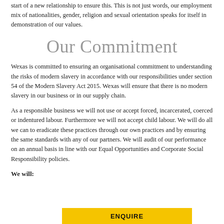start of a new relationship to ensure this. This is not just words, our employment mix of nationalities, gender, religion and sexual orientation speaks for itself in demonstration of our values.
Our Commitment
Wexas is committed to ensuring an organisational commitment to understanding the risks of modern slavery in accordance with our responsibilities under section 54 of the Modern Slavery Act 2015. Wexas will ensure that there is no modern slavery in our business or in our supply chain.
As a responsible business we will not use or accept forced, incarcerated, coerced or indentured labour. Furthermore we will not accept child labour. We will do all we can to eradicate these practices through our own practices and by ensuring the same standards with any of our partners. We will audit of our performance on an annual basis in line with our Equal Opportunities and Corporate Social Responsibility policies.
We will:
ENQUIRE